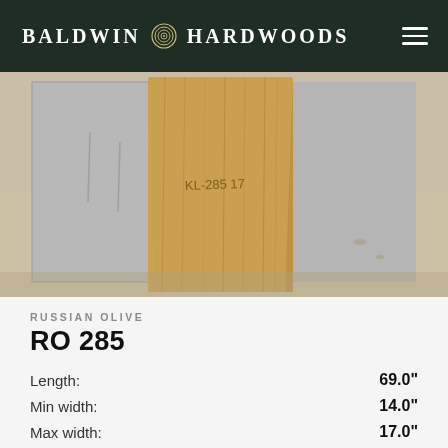BALDWIN HARDWOODS
[Figure (photo): Photo of a Russian Olive wood slab leaning against white boards on a concrete floor. The slab has a warm golden-tan color with visible grain markings and handwritten notation.]
RUSSIAN OLIVE
RO 285
| Attribute | Value |
| --- | --- |
| Length: | 69.0" |
| Min width: | 14.0" |
| Max width: | 17.0" |
| Surfaced Thickness: | 1.75" |